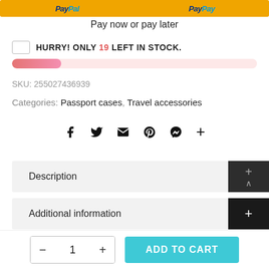[Figure (other): PayPal payment buttons bar at top of page]
Pay now or pay later
HURRY! ONLY 19 LEFT IN STOCK.
[Figure (infographic): Stock progress bar showing low inventory level]
SKU: 255027436939
Categories: Passport cases, Travel accessories
[Figure (infographic): Social sharing icons: Facebook, Twitter, Email, Pinterest, Messenger, More]
Description
Additional information
1 ADD TO CART